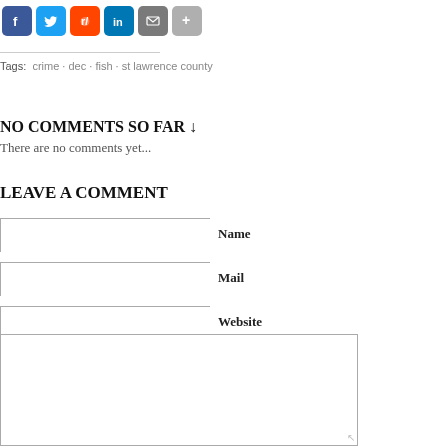[Figure (infographic): Social sharing icons: Facebook (blue), Twitter (light blue), Reddit (orange), LinkedIn (blue), Email (gray), Share (gray)]
Tags:  crime · dec · fish · st lawrence county
NO COMMENTS SO FAR ↓
There are no comments yet...
LEAVE A COMMENT
Name
Mail
Website